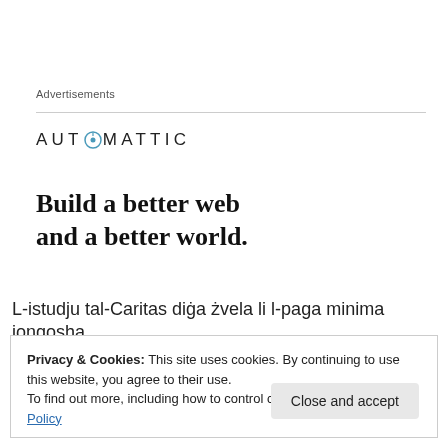Advertisements
[Figure (logo): Automattic logo with compass icon and uppercase text AUTOMATTIC]
Build a better web and a better world.
L-istudju tal-Caritas diġa żvela li l-paga minima jonqosha
Privacy & Cookies: This site uses cookies. By continuing to use this website, you agree to their use.
To find out more, including how to control cookies, see here: Cookie Policy